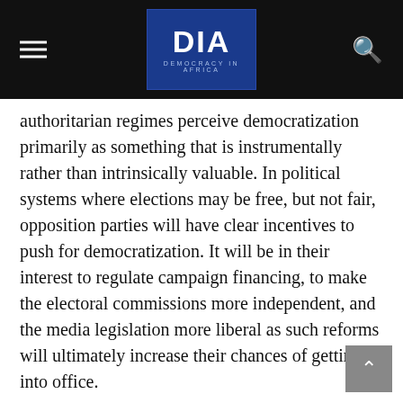DIA — Democracy in Africa
authoritarian regimes perceive democratization primarily as something that is instrumentally rather than intrinsically valuable. In political systems where elections may be free, but not fair, opposition parties will have clear incentives to push for democratization. It will be in their interest to regulate campaign financing, to make the electoral commissions more independent, and the media legislation more liberal as such reforms will ultimately increase their chances of getting into office.
In the unlikely event that opposition parties win elections, incentives change drastically. The biased institutions that used to impede the parties' electoral prospects in opposition can now be used to increase their chances for reelection. Consequently, it is not all that surprising many former opposition parties lost their commitment to democratic